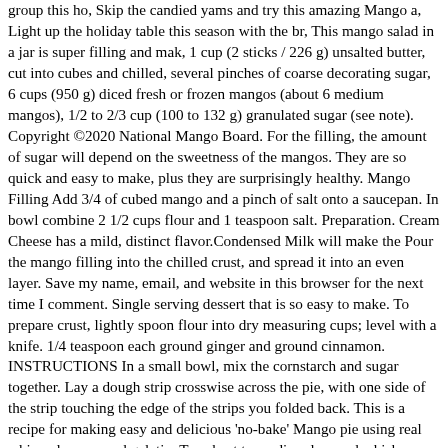group this ho, Skip the candied yams and try this amazing Mango a, Light up the holiday table this season with the br, This mango salad in a jar is super filling and mak, 1 cup (2 sticks / 226 g) unsalted butter, cut into cubes and chilled, several pinches of coarse decorating sugar, 6 cups (950 g) diced fresh or frozen mangos (about 6 medium mangos), 1/2 to 2/3 cup (100 to 132 g) granulated sugar (see note). Copyright ©2020 National Mango Board. For the filling, the amount of sugar will depend on the sweetness of the mangos. They are so quick and easy to make, plus they are surprisingly healthy. Mango Filling Add 3/4 of cubed mango and a pinch of salt onto a saucepan. In bowl combine 2 1/2 cups flour and 1 teaspoon salt. Preparation. Cream Cheese has a mild, distinct flavor.Condensed Milk will make the Pour the mango filling into the chilled crust, and spread it into an even layer. Save my name, email, and website in this browser for the next time I comment. Single serving dessert that is so easy to make. To prepare crust, lightly spoon flour into dry measuring cups; level with a knife. 1/4 teaspoon each ground ginger and ground cinnamon. INSTRUCTIONS In a small bowl, mix the cornstarch and sugar together. Lay a dough strip crosswise across the pie, with one side of the strip touching the edge of the strips you folded back. This is a recipe for making easy and delicious 'no-bake' Mango pie using real whipped cream and gelatin. Turn heat to medium low and whisk constantly to ensure the mixture heats evenly. This recipe is my newest attempt to make an amazing Apple Mango Pie. Instructions. Remove and discard any unmelted